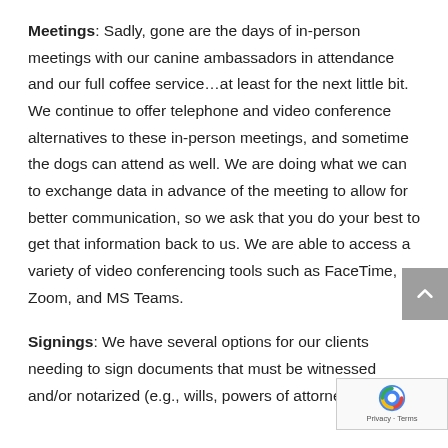Meetings:  Sadly, gone are the days of in-person meetings with our canine ambassadors in attendance and our full coffee service…at least for the next little bit.  We continue to offer telephone and video conference alternatives to these in-person meetings, and sometime the dogs can attend as well.  We are doing what we can to exchange data in advance of the meeting to allow for better communication, so we ask that you do your best to get that information back to us. We are able to access a variety of video conferencing tools such as FaceTime, Zoom, and MS Teams.
Signings:  We have several options for our clients needing to sign documents that must be witnessed and/or notarized (e.g., wills, powers of attorney, and health care directives).